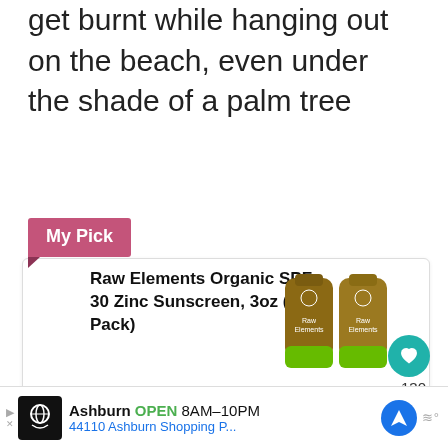get burnt while hanging out on the beach, even under the shade of a palm tree
My Pick
Raw Elements Organic SPF 30 Zinc Sunscreen, 3oz (2-Pack)
[Figure (photo): Two tubes of Raw Elements sunscreen with green caps]
$32.98 ($5.50 / Fl Oz) prime
Eco-friendly natural sunscreen for face and body
BUY NOW
WHAT'S NEXT → The most beautiful...
Ashburn OPEN 8AM–10PM 44110 Ashburn Shopping P...